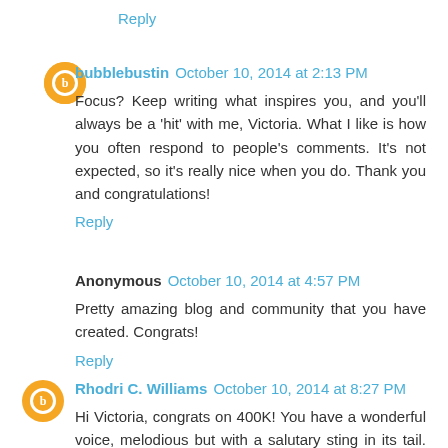Reply
bubblebustin October 10, 2014 at 2:13 PM
Focus? Keep writing what inspires you, and you'll always be a 'hit' with me, Victoria. What I like is how you often respond to people's comments. It's not expected, so it's really nice when you do. Thank you and congratulations!
Reply
Anonymous October 10, 2014 at 4:57 PM
Pretty amazing blog and community that you have created. Congrats!
Reply
Rhodri C. Williams October 10, 2014 at 8:27 PM
Hi Victoria, congrats on 400K! You have a wonderful voice, melodious but with a salutary sting in its tail. Keep up the